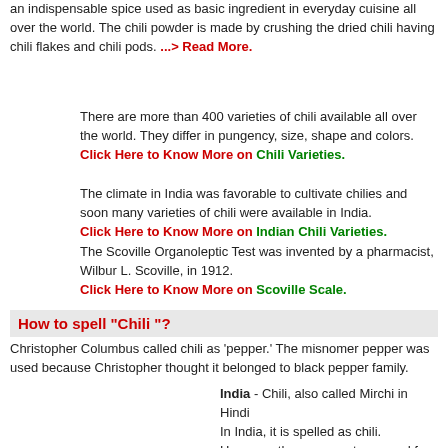an indispensable spice used as basic ingredient in everyday cuisine all over the world. The chili powder is made by crushing the dried chili having chili flakes and chili pods. ...> Read More.
There are more than 400 varieties of chili available all over the world. They differ in pungency, size, shape and colors. Click Here to Know More on Chili Varieties.
The climate in India was favorable to cultivate chilies and soon many varieties of chili were available in India. Click Here to Know More on Indian Chili Varieties.
The Scoville Organoleptic Test was invented by a pharmacist, Wilbur L. Scoville, in 1912. Click Here to Know More on Scoville Scale.
How to spell "Chili"?
Christopher Columbus called chili as 'pepper.' The misnomer pepper was used because Christopher thought it belonged to black pepper family.
India - Chili, also called Mirchi in Hindi
In India, it is spelled as chili. However, the common term used for chili is 'Mirchi' in Hindi language.